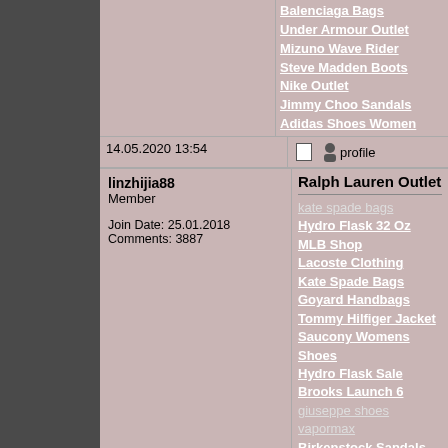Balenciaga Bags
Under Armour Outlet
Mizuno Wave Rider
Steve Madden Boots
Nike Outlet
Jimmy Choo Sandals
Adidas Shoes Women
14.05.2020 13:54
linzhijia88
Member

Join Date: 25.01.2018
Comments: 3887
Ralph Lauren Outlet
kate spade bags
Hydro Flask 32 Oz
MLB Shop
Lacoste Clothing
Kate Spade Bags
Goyard Handbags
Tommy Hilfiger Jacket
Saucony Womens Shoes
Hydro Flask Sale
Brooks Launch 6
giuseppe shoes
vapormax
Birkenstock Sandals
Coach Backpack
Karen Millen Tops
Hydro Flask Stickers
Jordan 11
Womens Asics
Champion
Hydro Flask 21 OZ
Fila Shoes
Kate Spade Handbags
NBA Jerseys Canada
golden goose
fitflop canada
Calvin Klien